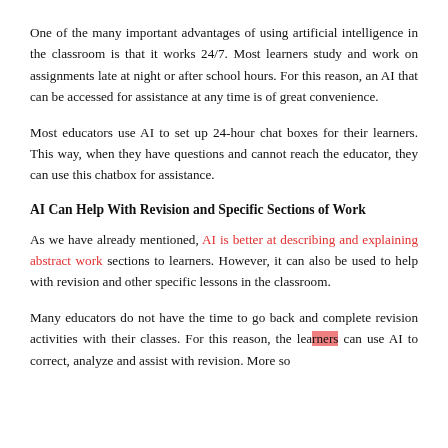One of the many important advantages of using artificial intelligence in the classroom is that it works 24/7. Most learners study and work on assignments late at night or after school hours. For this reason, an AI that can be accessed for assistance at any time is of great convenience.
Most educators use AI to set up 24-hour chat boxes for their learners. This way, when they have questions and cannot reach the educator, they can use this chatbox for assistance.
AI Can Help With Revision and Specific Sections of Work
As we have already mentioned, AI is better at describing and explaining abstract work sections to learners. However, it can also be used to help with revision and other specific lessons in the classroom.
Many educators do not have the time to go back and complete revision activities with their classes. For this reason, the learners can use AI to correct, analyze and assist with revision. More so